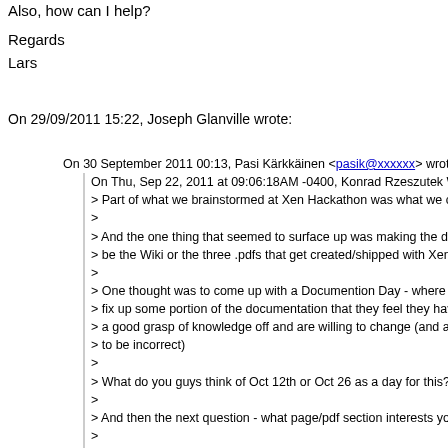Also, how can I help?
Regards
Lars
On 29/09/2011 15:22, Joseph Glanville wrote:
On 30 September 2011 00:13, Pasi Kärkkäinen <pasik@xxxxxx> wrote:
On Thu, Sep 22, 2011 at 09:06:18AM -0400, Konrad Rzeszutek Wilk wrot
> Part of what we brainstormed at Xen Hackathon was what we could do n
>
> And the one thing that seemed to surface up was making the docs bette
> be the Wiki or the three .pdfs that get created/shipped with Xen.
>
> One thought was to come up with a Documention Day - where volunteer
> fix up some portion of the documentation that they feel they have
> a good grasp of knowledge off and are willing to change (and also look
> to be incorrect)
>
> What do you guys think of Oct 12th or Oct 26 as a day for this?
>
> And then the next question - what page/pdf section interests you?
>
> http://bits.xensource.com/Xen/docs/user.pdf
> http://www.rites.uic.edu/~solworth/xenInterfaceManual.pdf [the one on X
>